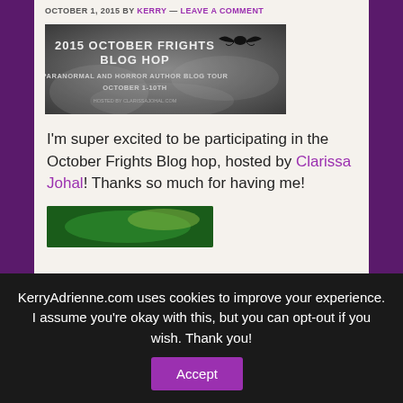OCTOBER 1, 2015 BY KERRY — LEAVE A COMMENT
[Figure (illustration): 2015 October Frights Blog Hop banner image — dark grey/smoke background with a bat silhouette. Text: '2015 OCTOBER FRIGHTS BLOG HOP / PARANORMAL AND HORROR AUTHOR BLOG TOUR / OCTOBER 1-10TH / Hosted by ClarissaJohal.com']
I'm super excited to be participating in the October Frights Blog hop, hosted by Clarissa Johal! Thanks so much for having me!
[Figure (photo): Partially visible image at bottom of content area showing green tones, likely a book cover]
KerryAdrienne.com uses cookies to improve your experience. I assume you're okay with this, but you can opt-out if you wish. Thank you!